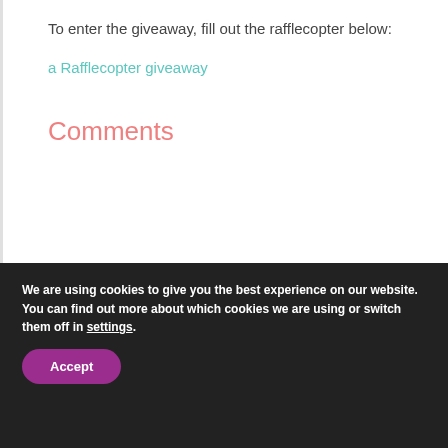To enter the giveaway, fill out the rafflecopter below:
a Rafflecopter giveaway
Comments
We are using cookies to give you the best experience on our website.
You can find out more about which cookies we are using or switch them off in settings.
Accept